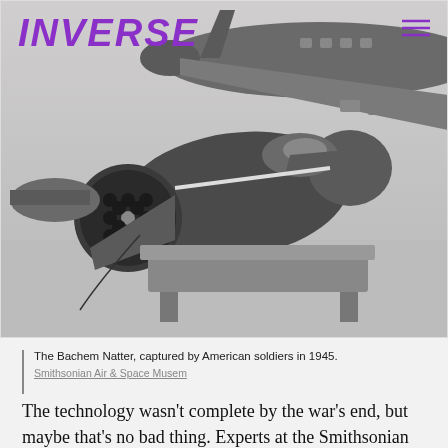INVERSE
[Figure (photo): Black and white photograph of the Bachem Natter aircraft on the ground, captured by American soldiers in 1945. The aircraft has a distinctive cylindrical fuselage with a honeycomb pattern at the rear engine/rocket exhaust. Other aircraft are visible in the background.]
The Bachem Natter, captured by American soldiers in 1945.
Smithsonian Air & Space Musem
The technology wasn't complete by the war's end, but maybe that's no bad thing. Experts at the Smithsonian